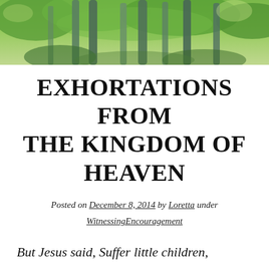[Figure (photo): Outdoor photo banner showing tall green plants or reeds against a bright green leafy background, cropped at top of page.]
EXHORTATIONS FROM THE KINGDOM OF HEAVEN
Posted on December 8, 2014 by Loretta under WitnessingEncouragement
But Jesus said, Suffer little children, and forbid them not, to come unto me: